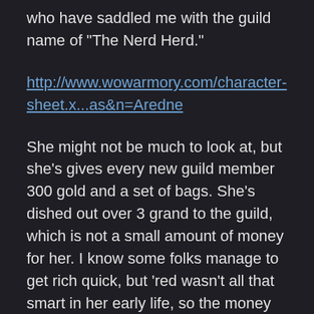who have saddled me with the guild name of "The Nerd Herd."
http://www.wowarmory.com/character-sheet.x...as&n=Aredne
She might not be much to look at, but she's gives every new guild member 300 gold and a set of bags. She's dished out over 3 grand to the guild, which is not a small amount of money for her. I know some folks manage to get rich quick, but 'red wasn't all that smart in her early life, so the money has been a struggle. Luckily, she has her epic mount, and there's plenty of